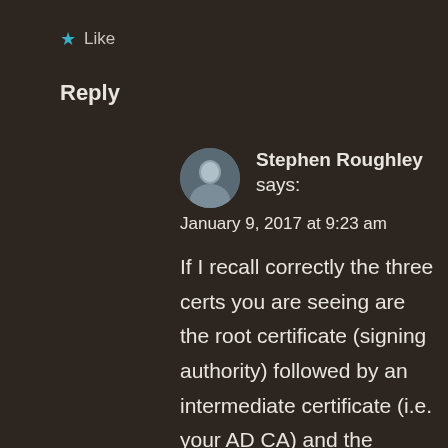★ Like
Reply
Stephen Roughley says:
January 9, 2017 at 9:23 am
If I recall correctly the three certs you are seeing are the root certificate (signing authority) followed by an intermediate certificate (i.e. your AD CA) and the